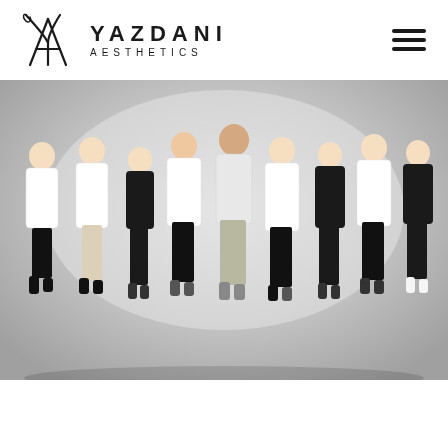[Figure (logo): Yazdani Aesthetics logo with stylized YA monogram and text]
[Figure (photo): Group photo of 9 medical/aesthetics staff members standing against a gray background. Some wearing white lab coats, others in black scrubs/clothing. Mix of male and female staff.]